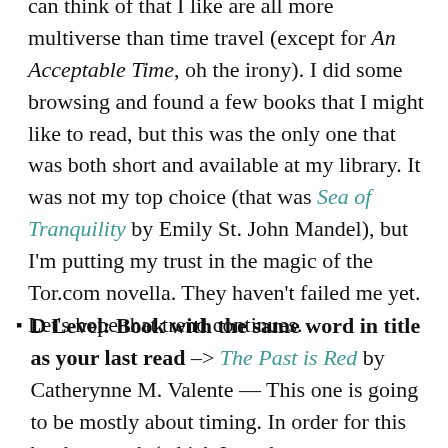can think of that I like are all more multiverse than time travel (except for An Acceptable Time, oh the irony). I did some browsing and found a few books that I might like to read, but this was the only one that was both short and available at my library. It was not my top choice (that was Sea of Tranquility by Emily St. John Mandel), but I'm putting my trust in the magic of the Tor.com novella. They haven't failed me yet. Let's hope that trend continues.
D Level: Book with the same word in title as your last read -> The Past is Red by Catherynne M. Valente — This one is going to be mostly about timing. In order for this book to work (which I need to